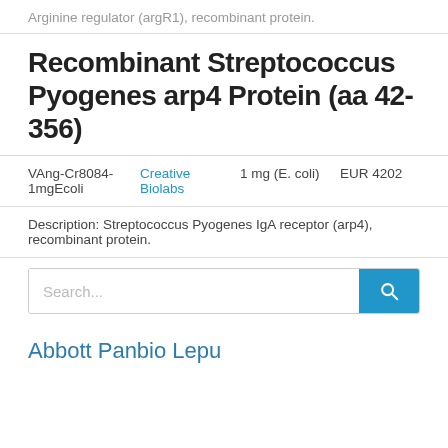Arginine regulator (argR1), recombinant protein.
Recombinant Streptococcus Pyogenes arp4 Protein (aa 42-356)
| ID | Supplier | Amount | Price |
| --- | --- | --- | --- |
| VAng-Cr8084-1mgEcoli | Creative Biolabs | 1 mg (E. coli) | EUR 4202 |
Description: Streptococcus Pyogenes IgA receptor (arp4), recombinant protein.
[Figure (screenshot): Search bar with blue search button]
Abbott Panbio Lepu